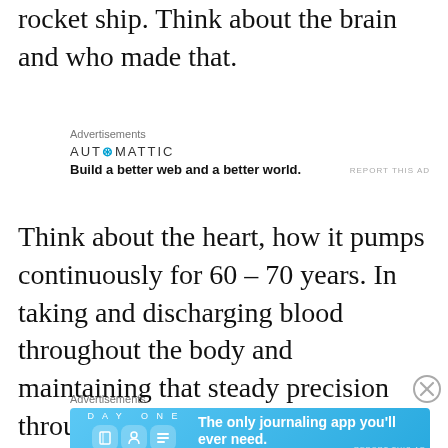rocket ship. Think about the brain and who made that.
[Figure (other): Automattic advertisement: logo text 'AUTOMATTIC' with tagline 'Build a better web and a better world.']
Think about the heart, how it pumps continuously for 60 – 70 years. In taking and discharging blood throughout the body and maintaining that steady precision throughout the life of that person.
[Figure (other): Day One journaling app advertisement with blue background, app icons, and text 'The only journaling app you'll ever need.']